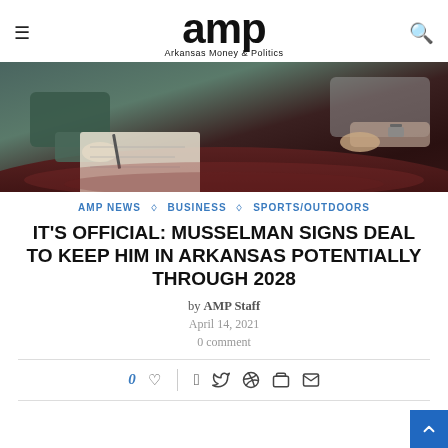amp — Arkansas Money & Politics
[Figure (photo): Two people signing documents at a dark conference table, hands visible from both sides]
AMP NEWS ◇ BUSINESS ◇ SPORTS/OUTDOORS
IT'S OFFICIAL: MUSSELMAN SIGNS DEAL TO KEEP HIM IN ARKANSAS POTENTIALLY THROUGH 2028
by AMP Staff
April 14, 2021
0 comment